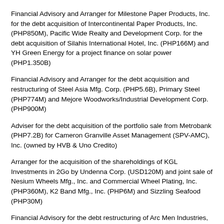Financial Advisory and Arranger for Milestone Paper Products, Inc. for the debt acquisition of Intercontinental Paper Products, Inc. (PHP850M), Pacific Wide Realty and Development Corp. for the debt acquisition of Silahis International Hotel, Inc. (PHP166M) and YH Green Energy for a project finance on solar power (PHP1.350B)
Financial Advisory and Arranger for the debt acquisition and restructuring of Steel Asia Mfg. Corp. (PHP5.6B), Primary Steel (PHP774M) and Mejore Woodworks/Industrial Development Corp. (PHP900M)
Adviser for the debt acquisition of the portfolio sale from Metrobank (PHP7.2B) for Cameron Granville Asset Management (SPV-AMC), Inc. (owned by HVB & Uno Credito)
Arranger for the acquisition of the shareholdings of KGL Investments in 2Go by Undenna Corp. (USD120M) and joint sale of Nesium Wheels Mfg., Inc. and Commercial Wheel Plating, Inc. (PHP360M), K2 Band Mfg., Inc. (PHP6M) and Sizzling Seafood (PHP30M)
Financial Advisory for the debt restructuring of Arc Men Industries, Inc. (PHP280M), Container Corporation of the Philippines (PHP250M), Victoria Export and Import, Inc. (PHP550M) and TSB Enterprises, Inc. (PHP120M)
Financial and Management Advisory for Nesium Wheels Mfg., Inc., Commercial Wheel Plating, Inc., Mondera Wheels, TSB Enterprises, Inc., Arc Men Industries, Inc., Leather Elegance, Sin Sin Philippines, Networkx